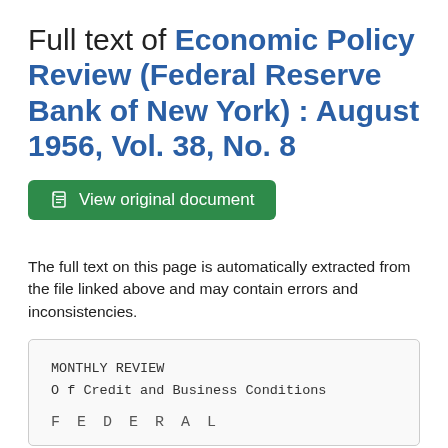Full text of Economic Policy Review (Federal Reserve Bank of New York) : August 1956, Vol. 38, No. 8
View original document
The full text on this page is automatically extracted from the file linked above and may contain errors and inconsistencies.
MONTHLY REVIEW
O f Credit and Business Conditions

F E D E R A L